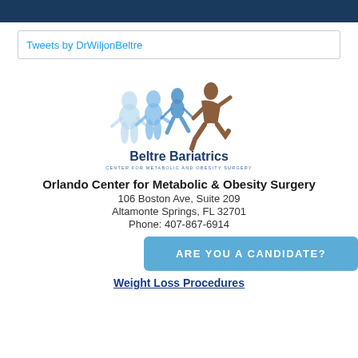Tweets by DrWiljonBeltre
[Figure (logo): Beltre Bariatrics logo showing silhouette figures of a person progressing from overweight to running, with text 'Beltre Bariatrics CENTER FOR METABOLIC AND OBESITY SURGERY']
Orlando Center for Metabolic & Obesity Surgery
106 Boston Ave, Suite 209
Altamonte Springs, FL 32701
Phone: 407-867-6914
ARE YOU A CANDIDATE?
Weight Loss Procedures